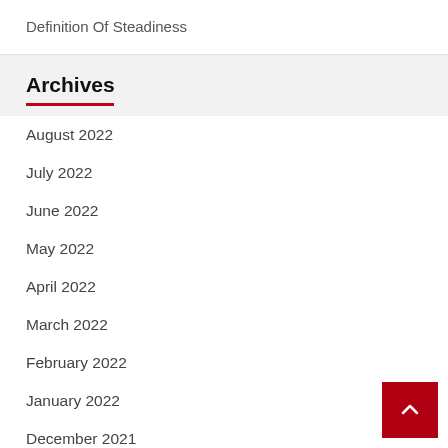Definition Of Steadiness
Archives
August 2022
July 2022
June 2022
May 2022
April 2022
March 2022
February 2022
January 2022
December 2021